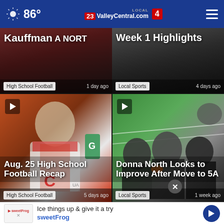86° ValleyCentral.com Local 23/4
[Figure (screenshot): Top-left video thumbnail with title 'Kauffman' overlaid on red/brown football background. Tag: High School Football. Time: 1 day ago]
[Figure (screenshot): Top-right video thumbnail with title 'Week 1 Highlights'. Tag: Local Sports. Time: 4 days ago]
[Figure (photo): Large video thumbnail of football player in white and red uniform with Gatorade cup in background. Title: Aug. 25 High School Football Recap. Tag: High School Football. Time: 5 days ago]
[Figure (photo): Large video thumbnail of football players in huddle on green field. Title: Donna North Looks to Improve After Move to 5A. Tag: Local Sports. Time: 1 week ago]
[Figure (screenshot): Bottom partial strip showing two more video thumbnails partially visible, and a sweetFrog advertisement bar at the bottom reading 'Ice things up & give it a try sweetFrog']